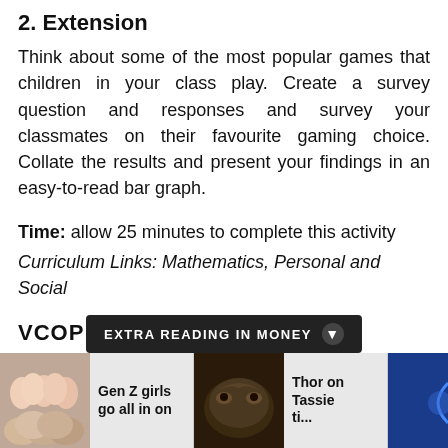2. Extension
Think about some of the most popular games that children in your class play. Create a survey question and responses and survey your classmates on their favourite gaming choice. Collate the results and present your findings in an easy-to-read bar graph.
Time: allow 25 minutes to complete this activity
Curriculum Links: Mathematics, Personal and Social
VCOP ACTIVI
EXTRA READING IN MONEY
[Figure (photo): Photo of Gen Z girls]
Gen Z girls go all in on
[Figure (photo): Dark photo of animal]
Thor on Tassie ti...